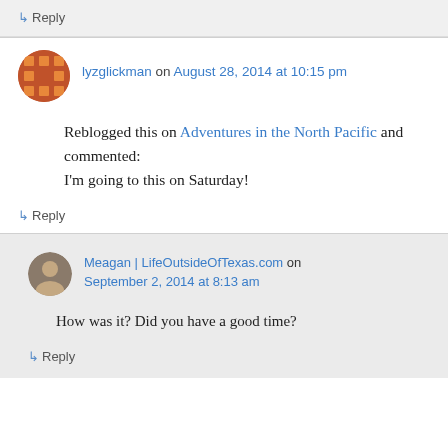↳ Reply
lyzglickman on August 28, 2014 at 10:15 pm
Reblogged this on Adventures in the North Pacific and commented:
I'm going to this on Saturday!
↳ Reply
Meagan | LifeOutsideOfTexas.com on September 2, 2014 at 8:13 am
How was it? Did you have a good time?
↳ Reply